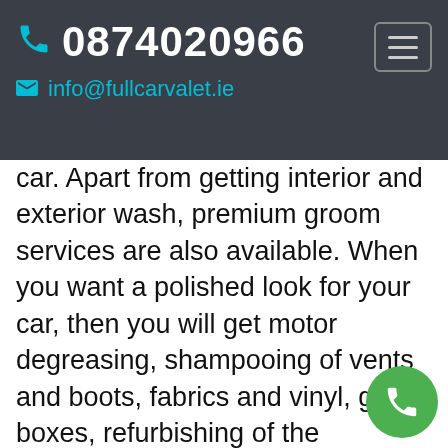0874020966  info@fullcarvalet.ie
car. Apart from getting interior and exterior wash, premium groom services are also available. When you want a polished look for your car, then you will get motor degreasing, shampooing of vents and boots, fabrics and vinyl, glove boxes, refurbishing of the headlights, leather upholstery conditioning and many more. We also remove all the bad odours that are coming from the inside of your car by deodorizing it. You can also give new life into your old car through our car detailing service.